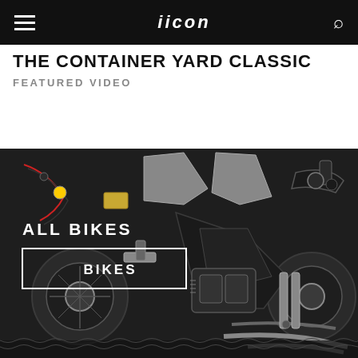icon — navigation bar with hamburger menu, logo, and search icon
THE CONTAINER YARD CLASSIC
FEATURED VIDEO
[Figure (photo): Flatlay knolling-style photograph of disassembled motorcycle parts arranged on a dark surface, including wheels, engine, frame, handlebars, fairings, cables, and various components. Text overlays: 'ALL BIKES' and a white-bordered button labeled 'BIKES'.]